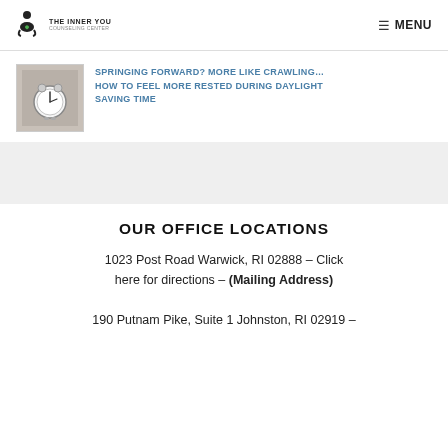THE INNER YOU COUNSELING CENTER  MENU
[Figure (photo): Thumbnail photo of an alarm clock on a bedside table]
SPRINGING FORWARD? MORE LIKE CRAWLING… HOW TO FEEL MORE RESTED DURING DAYLIGHT SAVING TIME
OUR OFFICE LOCATIONS
1023 Post Road Warwick, RI 02888 – Click here for directions – (Mailing Address)
190 Putnam Pike, Suite 1 Johnston, RI 02919 –